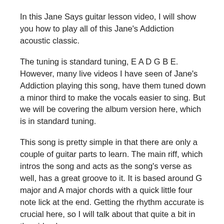In this Jane Says guitar lesson video, I will show you how to play all of this Jane's Addiction acoustic classic.
The tuning is standard tuning, E A D G B E. However, many live videos I have seen of Jane's Addiction playing this song, have them tuned down a minor third to make the vocals easier to sing. But we will be covering the album version here, which is in standard tuning.
This song is pretty simple in that there are only a couple of guitar parts to learn. The main riff, which intros the song and acts as the song's verse as well, has a great groove to it. It is based around G major and A major chords with a quick little four note lick at the end. Getting the rhythm accurate is crucial here, so I will talk about that quite a bit in the video lesson.
There are a couple of guitars of the original recording and they are both playing different voicings of the G major chord. I will detail that as well in the lesson.